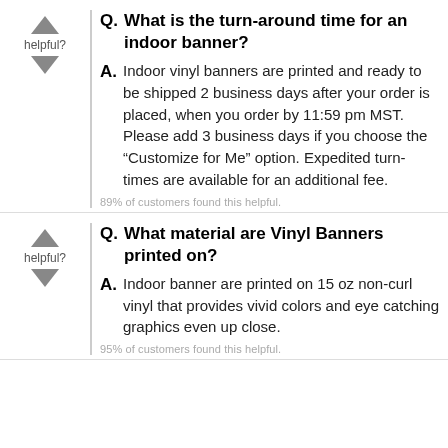Q. What is the turn-around time for an indoor banner?
A. Indoor vinyl banners are printed and ready to be shipped 2 business days after your order is placed, when you order by 11:59 pm MST. Please add 3 business days if you choose the “Customize for Me” option. Expedited turn-times are available for an additional fee.
89% of customers found this helpful.
Q. What material are Vinyl Banners printed on?
A. Indoor banner are printed on 15 oz non-curl vinyl that provides vivid colors and eye catching graphics even up close.
95% of customers found this helpful.